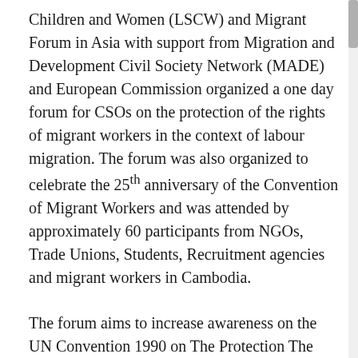Children and Women (LSCW) and Migrant Forum in Asia with support from Migration and Development Civil Society Network (MADE) and European Commission organized a one day forum for CSOs on the protection of the rights of migrant workers in the context of labour migration. The forum was also organized to celebrate the 25th anniversary of the Convention of Migrant Workers and was attended by approximately 60 participants from NGOs, Trade Unions, Students, Recruitment agencies and migrant workers in Cambodia.
The forum aims to increase awareness on the UN Convention 1990 on The Protection The Rights Of Migrant Workers And Members Of Their Families, the ILO Convention On Migrant Worker, and the ASEAN Declaration on The Promotion And Protection The Right Of Migrant